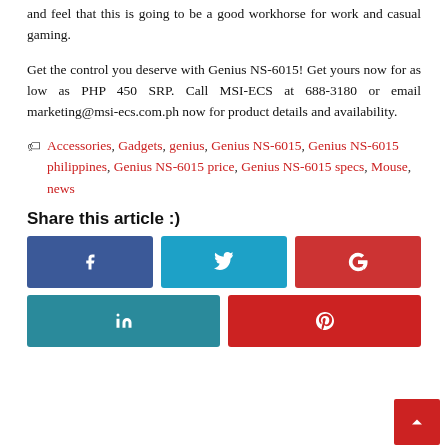and feel that this is going to be a good workhorse for work and casual gaming.
Get the control you deserve with Genius NS-6015! Get yours now for as low as PHP 450 SRP. Call MSI-ECS at 688-3180 or email marketing@msi-ecs.com.ph now for product details and availability.
Accessories, Gadgets, genius, Genius NS-6015, Genius NS-6015 philippines, Genius NS-6015 price, Genius NS-6015 specs, Mouse, news
Share this article :)
[Figure (other): Social share buttons: Facebook, Twitter, Google+, LinkedIn, Pinterest]